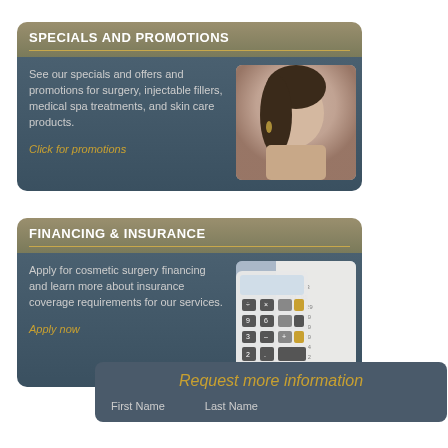SPECIALS AND PROMOTIONS
See our specials and offers and promotions for surgery, injectable fillers, medical spa treatments, and skin care products.
Click for promotions
[Figure (photo): Portrait photo of a young woman looking sideways]
FINANCING & INSURANCE
Apply for cosmetic surgery financing and learn more about insurance coverage requirements for our services.
Apply now
[Figure (photo): Photo of a calculator with financial documents showing numbers]
Request more information
First Name
Last Name